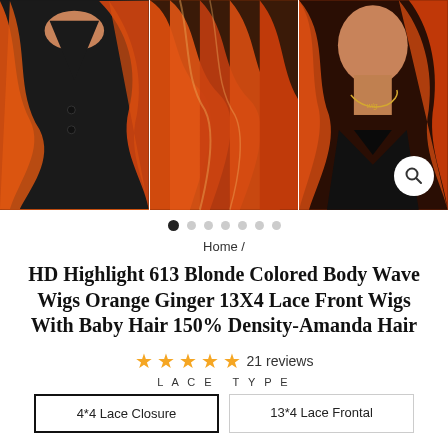[Figure (photo): Three-panel product image showing women wearing orange/ginger highlight body wave wigs. Left panel shows torso with wavy orange hair. Middle panel shows full wavy orange hair. Right panel shows woman with orange hair and gold necklace. A search icon button is in the bottom right corner.]
Home /
HD Highlight 613 Blonde Colored Body Wave Wigs Orange Ginger 13X4 Lace Front Wigs With Baby Hair 150% Density-Amanda Hair
★★★★★ 21 reviews
LACE TYPE
4*4 Lace Closure
13*4 Lace Frontal
DENSITY
150%
180%